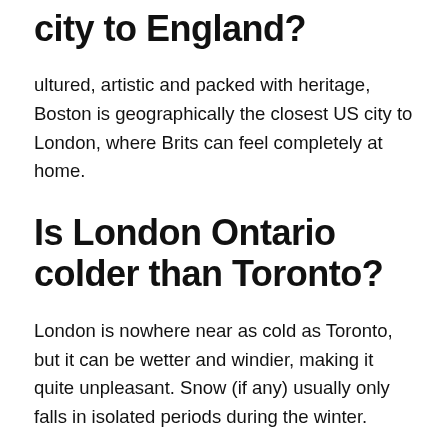city to England?
ultured, artistic and packed with heritage, Boston is geographically the closest US city to London, where Brits can feel completely at home.
Is London Ontario colder than Toronto?
London is nowhere near as cold as Toronto, but it can be wetter and windier, making it quite unpleasant. Snow (if any) usually only falls in isolated periods during the winter.
Does it snow in London Ontario?